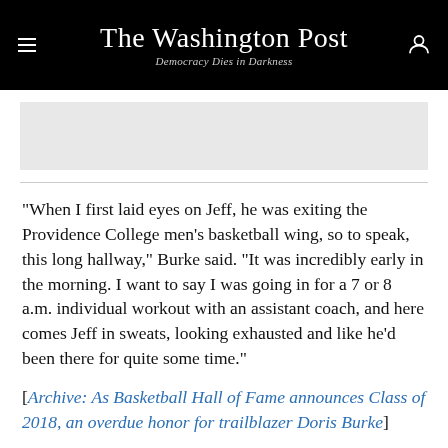The Washington Post
Democracy Dies in Darkness
[Figure (other): Gray advertisement placeholder rectangle]
“When I first laid eyes on Jeff, he was exiting the Providence College men’s basketball wing, so to speak, this long hallway,” Burke said. “It was incredibly early in the morning. I want to say I was going in for a 7 or 8 a.m. individual workout with an assistant coach, and here comes Jeff in sweats, looking exhausted and like he’d been there for quite some time.”
[Archive: As Basketball Hall of Fame announces Class of 2018, an overdue honor for trailblazer Doris Burke]